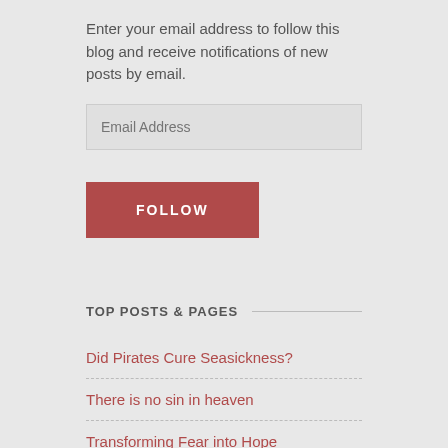Enter your email address to follow this blog and receive notifications of new posts by email.
TOP POSTS & PAGES
Did Pirates Cure Seasickness?
There is no sin in heaven
Transforming Fear into Hope
Rethinking Eden